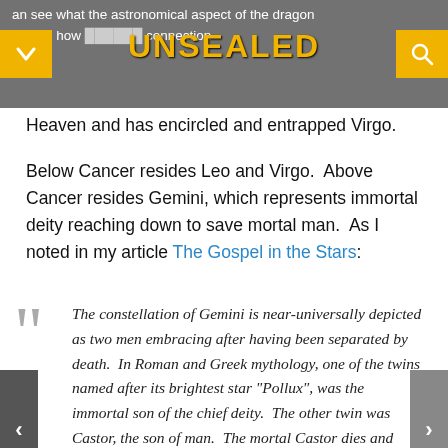UNSEALED — an see what the astronomical aspect of the dragon an see how connection
Heaven and has encircled and entrapped Virgo.
Below Cancer resides Leo and Virgo.  Above Cancer resides Gemini, which represents immortal deity reaching down to save mortal man.  As I noted in my article The Gospel in the Stars:
The constellation of Gemini is near-universally depicted as two men embracing after having been separated by death.  In Roman and Greek mythology, one of the twins named after its brightest star "Pollux", was the immortal son of the chief deity.  The other twin was Castor, the son of man.  The mortal Castor dies and Pollux pleads with his father to grant Castor immortality and his father agrees—the two are then united in the heavens forever.  I believe this